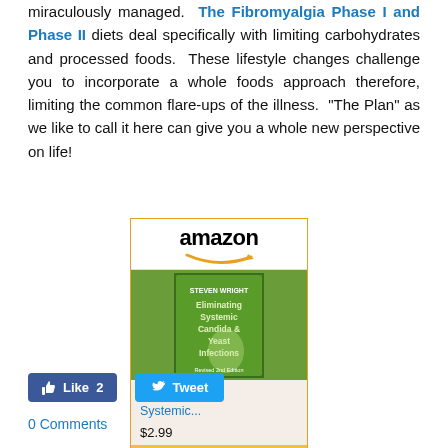miraculously managed. The Fibromyalgia Phase I and Phase II diets deal specifically with limiting carbohydrates and processed foods. These lifestyle changes challenge you to incorporate a whole foods approach therefore, limiting the common flare-ups of the illness. "The Plan" as we like to call it here can give you a whole new perspective on life!
[Figure (other): Amazon product widget showing a book titled 'Eliminating Systemic...' priced at $2.99 with a Shop now button]
Like 2   Tweet
0 Comments